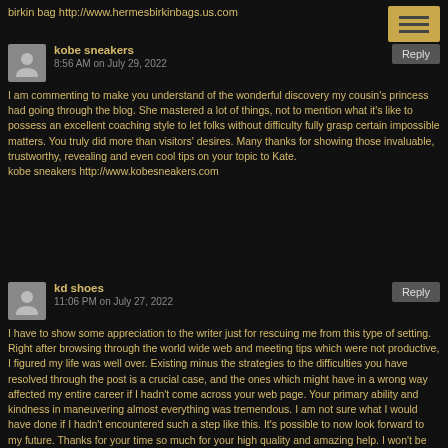birkin bag http://www.hermesbirkinbags.us.com
kobe sneakers
8:56 AM on July 29, 2022
I am commenting to make you understand of the wonderful discovery my cousin's princess had going through the blog. She mastered a lot of things, not to mention what it's like to possess an excellent coaching style to let folks without difficulty fully grasp certain impossible matters. You truly did more than visitors' desires. Many thanks for showing those invaluable, trustworthy, revealing and even cool tips on your topic to Kate.
kobe sneakers http://www.kobesneakers.com
kd shoes
11:06 PM on July 27, 2022
I have to show some appreciation to the writer just for rescuing me from this type of setting. Right after browsing through the world wide web and meeting tips which were not productive, I figured my life was well over. Existing minus the strategies to the difficulties you have resolved through the post is a crucial case, and the ones which might have in a wrong way affected my entire career if I hadn't come across your web page. Your primary ability and kindness in maneuvering almost everything was tremendous. I am not sure what I would have done if I hadn't encountered such a step like this. It's possible to now look forward to my future. Thanks for your time so much for your high quality and amazing help. I won't be reluctant to suggest the website to any person who ought to have recommendations about this subject.